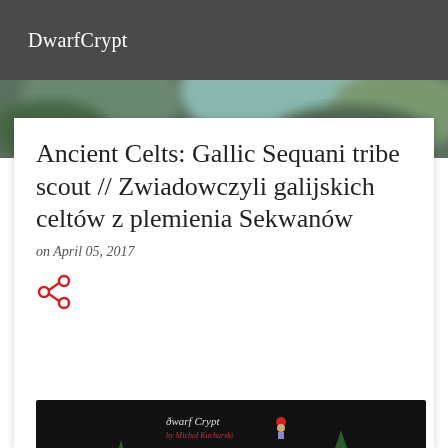DwarfCrypt
[Figure (photo): Blurred outdoor/forest background banner photo]
Ancient Celts: Gallic Sequani tribe scout // Zwiadowczyli galijskich celtów z plemienia Sekwanów
on April 05, 2017
[Figure (photo): Painted miniature of a Gallic Celtic scout figure surrounded by model pine trees on a diorama base. Watermark reads 'Dwarf Crypt by Michał Kucharski']